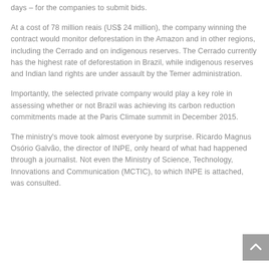days – for the companies to submit bids.
At a cost of 78 million reais (US$ 24 million), the company winning the contract would monitor deforestation in the Amazon and in other regions, including the Cerrado and on indigenous reserves. The Cerrado currently has the highest rate of deforestation in Brazil, while indigenous reserves and Indian land rights are under assault by the Temer administration.
Importantly, the selected private company would play a key role in assessing whether or not Brazil was achieving its carbon reduction commitments made at the Paris Climate summit in December 2015.
The ministry's move took almost everyone by surprise. Ricardo Magnus Osório Galvão, the director of INPE, only heard of what had happened through a journalist. Not even the Ministry of Science, Technology, Innovations and Communication (MCTIC), to which INPE is attached, was consulted.